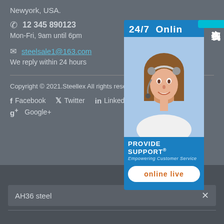Newyork, USA.
12 345 890123
Mon-Fri, 9am until 6pm
steelsale1@163.com
We reply within 24 hours
[Figure (infographic): 24/7 Online chat widget with photo of customer service agent, PROVIDE SUPPORT® Empowering Customer Service, online live button, and Chinese text tab 在线咨询]
Copyright © 2021.Steellex All rights reserved.
Facebook   Twitter   Linkedin   Google+
AH36 steel